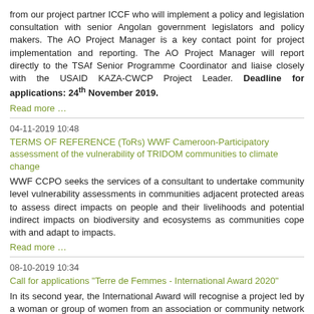from our project partner ICCF who will implement a policy and legislation consultation with senior Angolan government legislators and policy makers. The AO Project Manager is a key contact point for project implementation and reporting. The AO Project Manager will report directly to the TSAf Senior Programme Coordinator and liaise closely with the USAID KAZA-CWCP Project Leader. Deadline for applications: 24th November 2019.
Read more …
04-11-2019 10:48
TERMS OF REFERENCE (ToRs) WWF Cameroon-Participatory assessment of the vulnerability of TRIDOM communities to climate change
WWF CCPO seeks the services of a consultant to undertake community level vulnerability assessments in communities adjacent protected areas to assess direct impacts on people and their livelihoods and potential indirect impacts on biodiversity and ecosystems as communities cope with and adapt to impacts.
Read more …
08-10-2019 10:34
Call for applications "Terre de Femmes - International Award 2020"
In its second year, the International Award will recognise a project led by a woman or group of women from an association or community network whose main objective relates directly to medicinal plants as part of a biodiversity approach.The call for application is opened until november 15, 2019.
Read more …
03-10-2019 08:30
WWF-Salonga Programme Administrator
WWF-DRC is looking for a Programme Administrator for its Salonga National Park programme to help achieve its new ambitious goals and build a future where people live in harmony with nature. Deadline for applications: 02 November 2019.